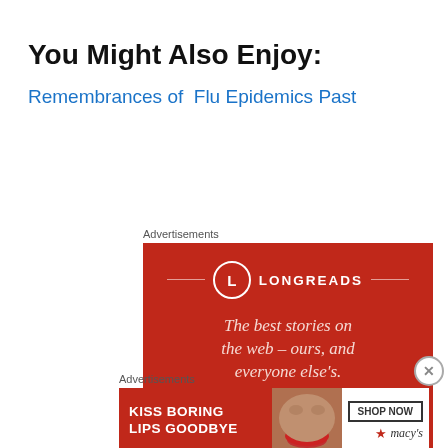You Might Also Enjoy:
Remembrances of  Flu Epidemics Past
Advertisements
[Figure (illustration): Longreads advertisement — red background with circle-L logo, text 'The best stories on the web – ours, and everyone else's.' and a 'Start reading' button.]
Advertisements
[Figure (illustration): Macy's advertisement — 'KISS BORING LIPS GOODBYE' with a woman's face wearing red lipstick, SHOP NOW button, and Macy's star logo.]